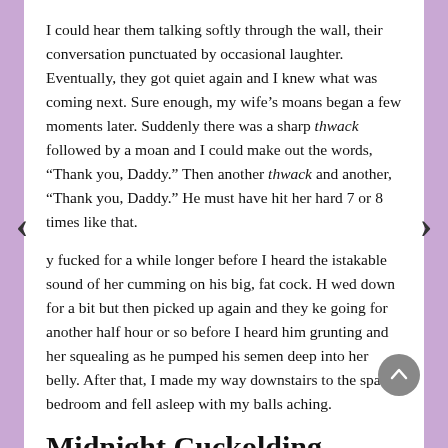I could hear them talking softly through the wall, their conversation punctuated by occasional laughter. Eventually, they got quiet again and I knew what was coming next. Sure enough, my wife’s moans began a few moments later. Suddenly there was a sharp thwack followed by a moan and I could make out the words, “Thank you, Daddy.” Then another thwack and another, “Thank you, Daddy.” He must have hit her hard 7 or 8 times like that.
y fucked for a while longer before I heard the istakable sound of her cumming on his big, fat cock. H wed down for a bit but then picked up again and they ke going for another half hour or so before I heard him grunting and her squealing as he pumped his semen deep into her belly. After that, I made my way downstairs to the spare bedroom and fell asleep with my balls aching.
Midnight Cuckolding Session
As usual, I was woken in the middle of the night by the sound of them fucking but, while the sound usually comes from over